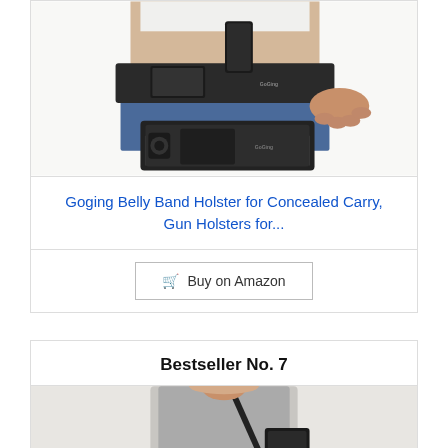[Figure (photo): Product photo of Goging Belly Band Holster — person wearing black elastic belly band holster with phone inserted, and a flat view of the holster below]
Goging Belly Band Holster for Concealed Carry, Gun Holsters for...
Buy on Amazon
Bestseller No. 7
[Figure (photo): Product photo of a man wearing a grey t-shirt with a shoulder holster visible]